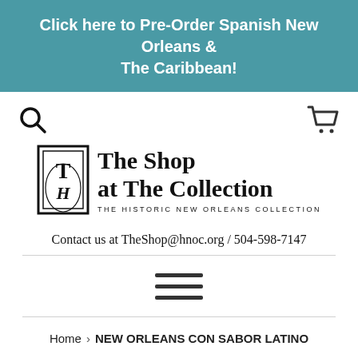Click here to Pre-Order Spanish New Orleans & The Caribbean!
[Figure (screenshot): Search icon (magnifying glass) on the left and shopping cart icon on the right, navigation bar]
[Figure (logo): The Shop at The Collection logo — decorative emblem with THE HISTORIC NEW ORLEANS COLLECTION beneath]
Contact us at TheShop@hnoc.org / 504-598-7147
[Figure (other): Hamburger menu icon (three horizontal lines)]
Home › NEW ORLEANS CON SABOR LATINO